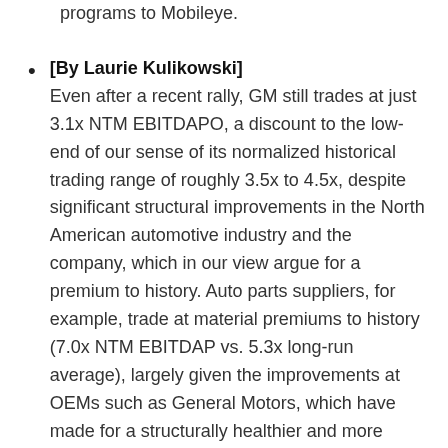programs to Mobileye.
[By Laurie Kulikowski] Even after a recent rally, GM still trades at just 3.1x NTM EBITDAPO, a discount to the low-end of our sense of its normalized historical trading range of roughly 3.5x to 4.5x, despite significant structural improvements in the North American automotive industry and the company, which in our view argue for a premium to history. Auto parts suppliers, for example, trade at material premiums to history (7.0x NTM EBITDAP vs. 5.3x long-run average), largely given the improvements at OEMs such as General Motors, which have made for a structurally healthier and more profitable industry for all market participants. We note GM also sports a 4.0% dividend yield, making it attractive to income oriented investors, and yields 8.5% free cash flow to equity, on our 2016 estimates. GM has another $2.1 billion